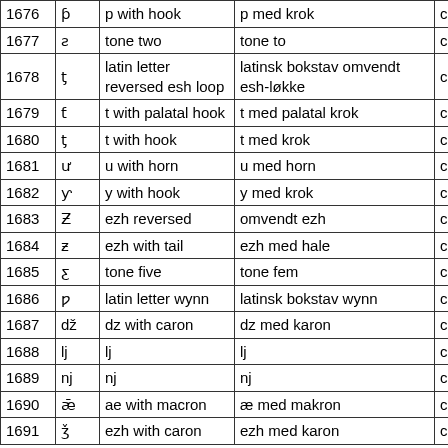| Code | Char | English name | Norwegian name | Category |
| --- | --- | --- | --- | --- |
| 1676 | ƥ | p with hook | p med krok | clearsp… |
| 1677 | ƨ | tone two | tone to | clearsp… |
| 1678 | ƫ | latin letter reversed esh loop | latinsk bokstav omvendt esh-løkke | clearsp… |
| 1679 | ƭ | t with palatal hook | t med palatal krok | clearsp… |
| 1680 | ƫ | t with hook | t med krok | clearsp… |
| 1681 | ư | u with horn | u med horn | clearsp… |
| 1682 | ƴ | y with hook | y med krok | clearsp… |
| 1683 | Ƶ | ezh reversed | omvendt ezh | clearsp… |
| 1684 | ƶ | ezh with tail | ezh med hale | clearsp… |
| 1685 | ƹ | tone five | tone fem | clearsp… |
| 1686 | ƿ | latin letter wynn | latinsk bokstav wynn | clearsp… |
| 1687 | dž | dz with caron | dz med karon | clearsp… |
| 1688 | lj | lj | lj | clearsp… |
| 1689 | nj | nj | nj | clearsp… |
| 1690 | ǣ | ae with macron | æ med makron | clearsp… |
| 1691 | ǯ | ezh with caron | ezh med karon | clearsp… |